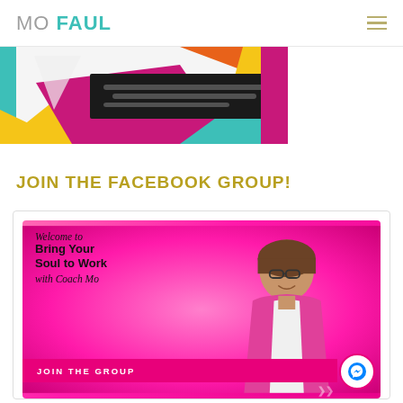MO FAUL
[Figure (illustration): Colorful geometric/graphic design banner partially visible at top, with bright colors including teal, yellow, magenta, and orange shapes with dark text overlay]
JOIN THE FACEBOOK GROUP!
[Figure (illustration): Facebook group promotional image on pink/magenta gradient background. Shows a woman in a pink blazer with glasses. Text reads 'Welcome to Bring Your Soul to Work with Coach Mo' with a 'JOIN THE GROUP' banner at bottom and Facebook Messenger icon button.]